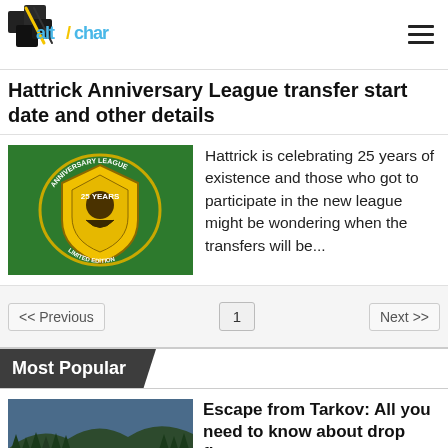[Figure (logo): AltChar logo with pixelated game controller style lettering]
Hattrick Anniversary League transfer start date and other details
[Figure (illustration): Hattrick Anniversary League badge/crest on green background with yellow shield and text 'Anniversary League 25 Years Limited Edition']
Hattrick is celebrating 25 years of existence and those who got to participate in the new league might be wondering when the transfers will be...
1
Most Popular
[Figure (photo): Forest/outdoor landscape screenshot from Escape from Tarkov game]
Escape from Tarkov: All you need to know about drop flares